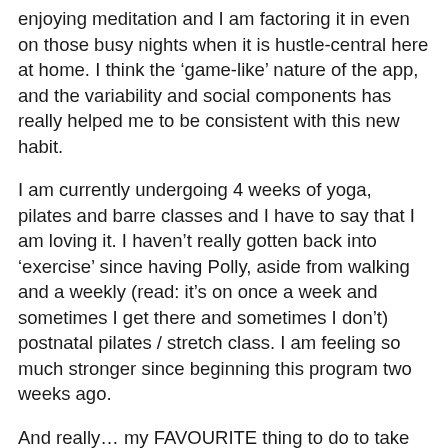enjoying meditation and I am factoring it in even on those busy nights when it is hustle-central here at home. I think the 'game-like' nature of the app, and the variability and social components has really helped me to be consistent with this new habit.
I am currently undergoing 4 weeks of yoga, pilates and barre classes and I have to say that I am loving it. I haven't really gotten back into 'exercise' since having Polly, aside from walking and a weekly (read: it's on once a week and sometimes I get there and sometimes I don't) postnatal pilates / stretch class. I am feeling so much stronger since beginning this program two weeks ago.
And really… my FAVOURITE thing to do to take care of myself is curl up and watch Grey's Anatomy with a bag of plain potato chips from Aldi (my fave!) and soda water. Ahhh… bliss!